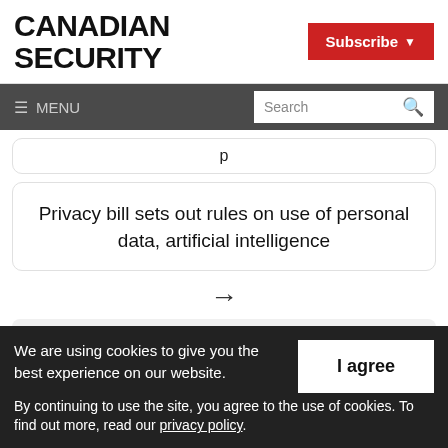CANADIAN SECURITY
Subscribe
≡ MENU  Search
Privacy bill sets out rules on use of personal data, artificial intelligence
→
[Figure (screenshot): Partial view of Canadian Security logo in grey box at bottom of content area]
We are using cookies to give you the best experience on our website.
By continuing to use the site, you agree to the use of cookies. To find out more, read our privacy policy.
I agree